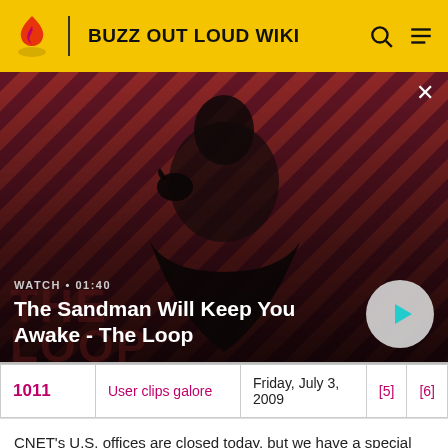BUZZ OUT LOUD WIKI
[Figure (screenshot): Video thumbnail showing a man in dark clothing with a raven on his shoulder against a red diagonal stripe background. Title card reads: WATCH • 01:40 / The Sandman Will Keep You Awake - The Loop. A play button is visible at bottom right.]
|  |  |  |  |  |
| --- | --- | --- | --- | --- |
| 1011 | User clips galore | Friday, July 3, 2009 | [5] | [6] |
CNET's U.S. offices are closed today, but we have a special episode for you. We had so many great submissions to our 1,000th episode that we couldn't fit all the clips in the show and do everything else we wanted. So, today you get all the